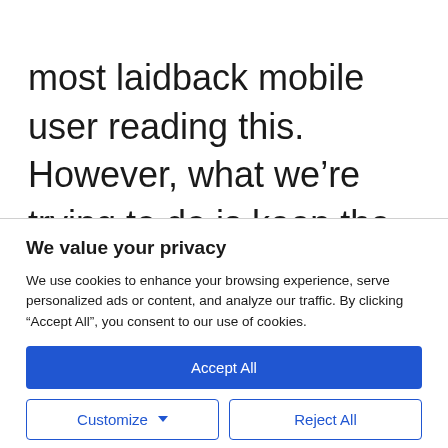most laidback mobile user reading this. However, what we’re trying to do is keep the keyword as the constant, that’s our A column. Then, we want
We value your privacy
We use cookies to enhance your browsing experience, serve personalized ads or content, and analyze our traffic. By clicking “Accept All”, you consent to our use of cookies.
Accept All
Customize
Reject All